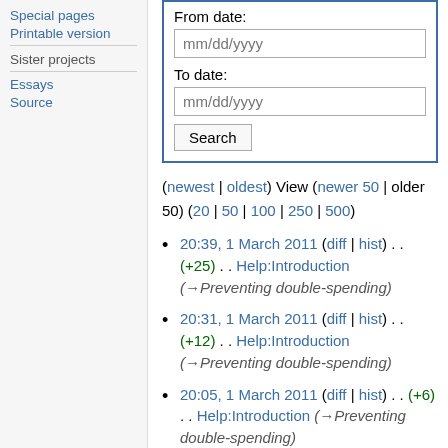Special pages
Printable version
Sister projects
Essays
Source
From date: mm/dd/yyyy
To date: mm/dd/yyyy
(newest | oldest) View (newer 50 | older 50) (20 | 50 | 100 | 250 | 500)
20:39, 1 March 2011 (diff | hist) . . (+25) . . Help:Introduction (→Preventing double-spending)
20:31, 1 March 2011 (diff | hist) . . (+12) . . Help:Introduction (→Preventing double-spending)
20:05, 1 March 2011 (diff | hist) . . (+6) . . Help:Introduction (→Preventing double-spending)
20:04, 1 March 2011 (diff | hist) . .